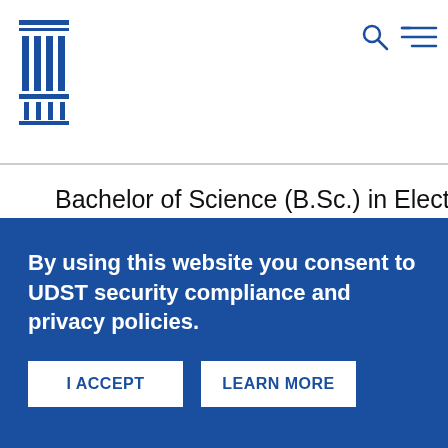UDST logo with search and menu icons
Bachelor of Science (B.Sc.) in Electrical Engineering
Bachelor of Science (B.Sc.) in Construction Engineering
Diploma in Telecommunications and Network Engineering
Diploma in Chemical and Processing Engineering Technology
By using this website you consent to UDST security compliance and privacy policies.
I ACCEPT
LEARN MORE